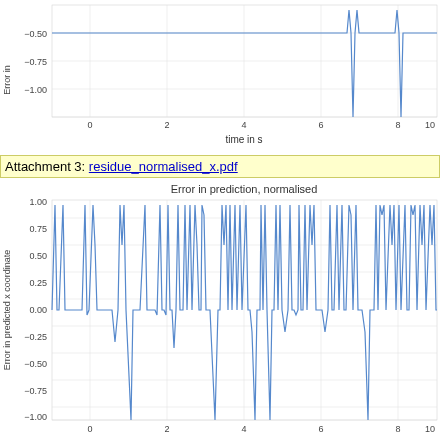[Figure (continuous-plot): Top partial chart showing 'Error in prediction' (y-axis: Error in predicted x coordinate, range -1.00 to -0.50) vs time in s (x-axis: 0 to 10). Two narrow spike features visible around t=7.5 and t=8.5 going down to about -1.00.]
Attachment 3: residue_normalised_x.pdf
[Figure (continuous-plot): Line chart titled 'Error in prediction, normalised'. Y-axis: 'Error in predicted x coordinate', range -1.00 to 1.00. X-axis: time 0 to 10. The signal oscillates between ~0 and ~0.95 with periodic spikes going down to -1.00, creating a complex pattern of positive peaks and negative troughs.]